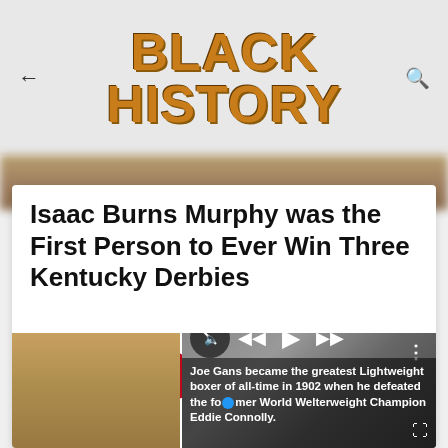BLACK HISTORY
Isaac Burns Murphy was the First Person to Ever Win Three Kentucky Derbies
[Figure (screenshot): Social share buttons: Facebook button, count '40', Pinterest button]
[Figure (screenshot): Video overlay showing a boxer. Caption: Joe Gans became the greatest Lightweight boxer of all-time in 1902 when he defeated the former World Welterweight Champion Eddie Connolly.]